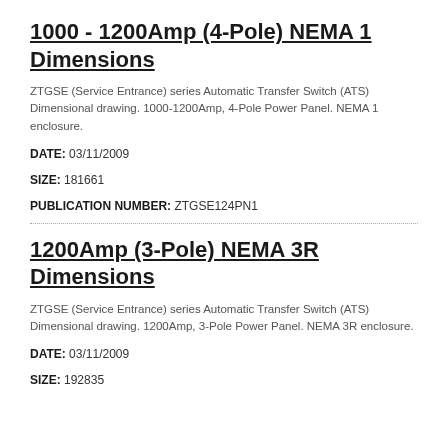1000 - 1200Amp (4-Pole) NEMA 1 Dimensions
ZTGSE (Service Entrance) series Automatic Transfer Switch (ATS) Dimensional drawing. 1000-1200Amp, 4-Pole Power Panel. NEMA 1 enclosure.
DATE: 03/11/2009
SIZE: 181661
PUBLICATION NUMBER: ZTGSE124PN1
1200Amp (3-Pole) NEMA 3R Dimensions
ZTGSE (Service Entrance) series Automatic Transfer Switch (ATS) Dimensional drawing. 1200Amp, 3-Pole Power Panel. NEMA 3R enclosure.
DATE: 03/11/2009
SIZE: 192835